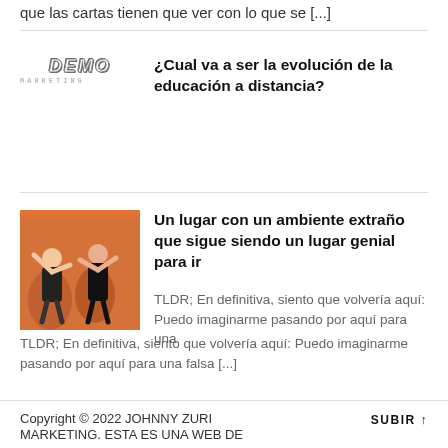que las cartas tienen que ver con lo que se [...]
[Figure (logo): Black background logo with JOHNNY ZURI MARKETING text in white stylized letters]
¿Cual va a ser la evolución de la educación a distancia?
[Figure (photo): Photo of people dancing, orange/warm tones]
Un lugar con un ambiente extraño que sigue siendo un lugar genial para ir
TLDR; En definitiva, siento que volvería aquí: Puedo imaginarme pasando por aquí para una falsa [...]
Copyright © 2022 JOHNNY ZURI MARKETING. ESTA ES UNA WEB DE
SUBIR ↑